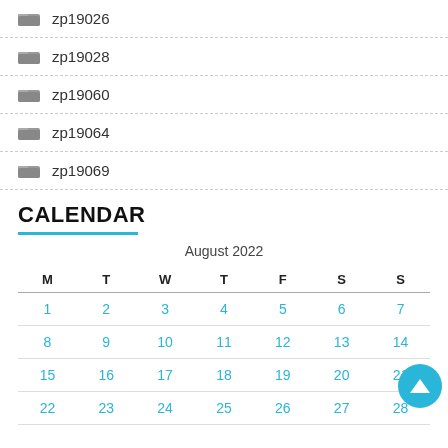zp19026
zp19028
zp19060
zp19064
zp19069
CALENDAR
| M | T | W | T | F | S | S |
| --- | --- | --- | --- | --- | --- | --- |
| 1 | 2 | 3 | 4 | 5 | 6 | 7 |
| 8 | 9 | 10 | 11 | 12 | 13 | 14 |
| 15 | 16 | 17 | 18 | 19 | 20 | 21 |
| 22 | 23 | 24 | 25 | 26 | 27 | 28 |